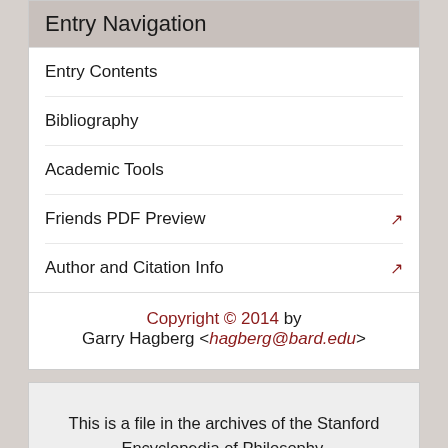Entry Navigation
Entry Contents
Bibliography
Academic Tools
Friends PDF Preview
Author and Citation Info
Copyright © 2014 by Garry Hagberg <hagberg@bard.edu>
This is a file in the archives of the Stanford Encyclopedia of Philosophy. Please note that some links may no longer be functional.